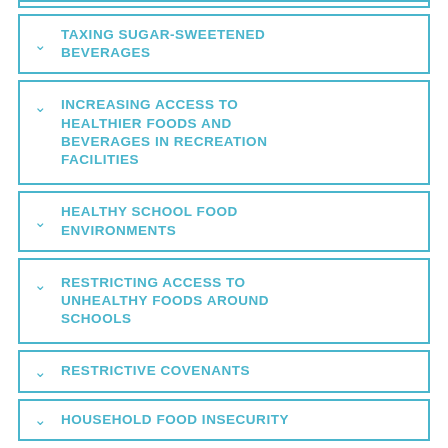TAXING SUGAR-SWEETENED BEVERAGES
INCREASING ACCESS TO HEALTHIER FOODS AND BEVERAGES IN RECREATION FACILITIES
HEALTHY SCHOOL FOOD ENVIRONMENTS
RESTRICTING ACCESS TO UNHEALTHY FOODS AROUND SCHOOLS
RESTRICTIVE COVENANTS
HOUSEHOLD FOOD INSECURITY